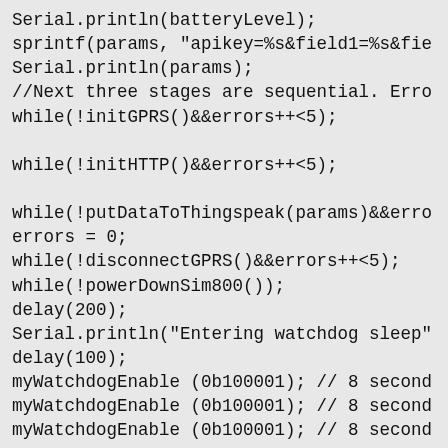[Figure (screenshot): Code snippet showing Arduino/C++ code for GPRS data transmission including sprintf, Serial.println, initGPRS, initHTTP, putDataToThingspeak, disconnectGPRS, powerDownSim800, delay, Serial.println watchdog sleep, and myWatchdogEnable calls.]